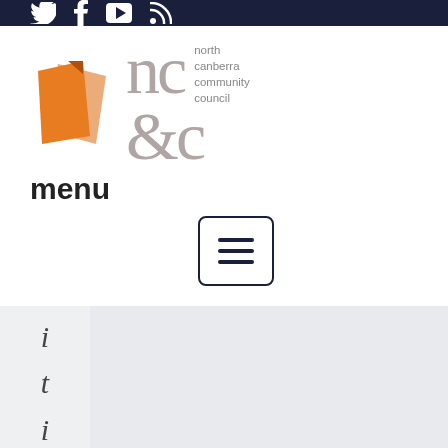Social media icons: Twitter, Facebook, YouTube, RSS
[Figure (logo): North Canberra Community Council logo with orange angular graphic and NCCC lettering with full name 'north canberra community council']
menu
[Figure (other): Hamburger menu button icon with three horizontal lines inside a rounded rectangle border]
citizens